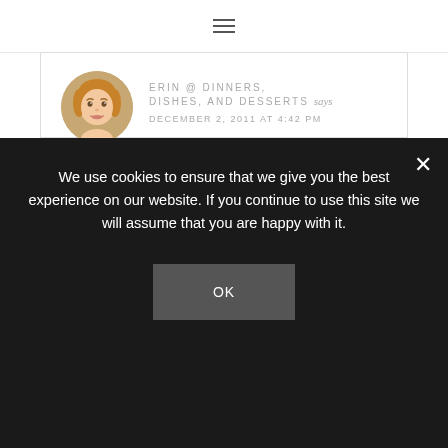≡
ERIN @ DINNERS, DISHES, AND DESSERTS says
DECEMBER 2, 2011 AT 4:42 PM
Happy early birthday!! Never would have guessed you were close to 40! Love the post and
We use cookies to ensure that we give you the best experience on our website. If you continue to use this site we will assume that you are happy with it.
OK